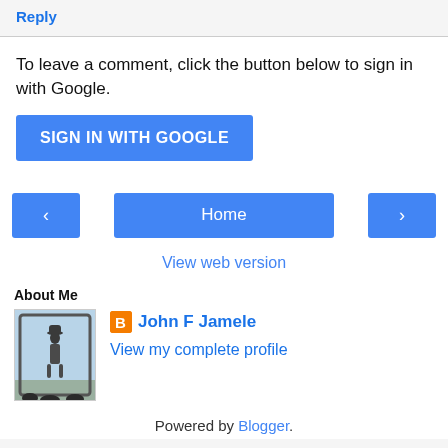Reply
To leave a comment, click the button below to sign in with Google.
SIGN IN WITH GOOGLE
Home
View web version
About Me
[Figure (photo): Profile photo of a person in a hat standing in an archway against a bright sky background]
John F Jamele
View my complete profile
Powered by Blogger.